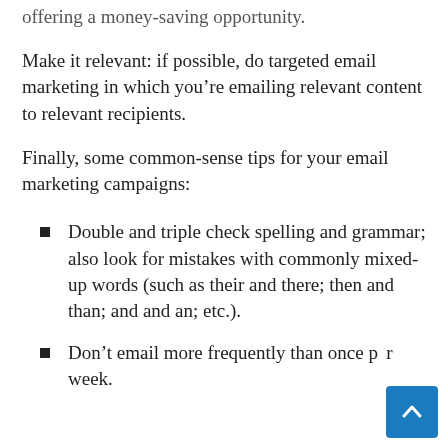offering a money-saving opportunity.
Make it relevant: if possible, do targeted email marketing in which you’re emailing relevant content to relevant recipients.
Finally, some common-sense tips for your email marketing campaigns:
Double and triple check spelling and grammar; also look for mistakes with commonly mixed-up words (such as their and there; then and than; and and an; etc.).
Don’t email more frequently than once per week.